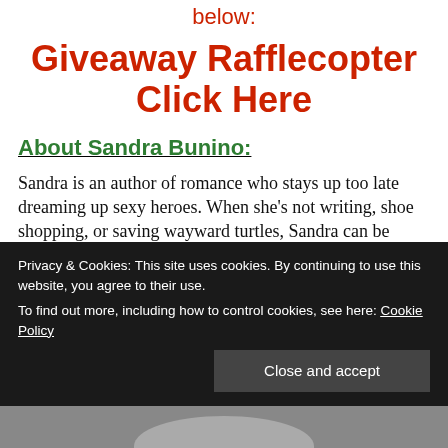below:
Giveaway Rafflecopter Click Here
About Sandra Bunino:
Sandra is an author of romance who stays up too late dreaming up sexy heroes. When she’s not writing, shoe shopping, or saving wayward turtles, Sandra can be found with a cup of coffee browsing the shelves of an indie bookstore. As a social media junkie, Sandra loves to chat with readers and
Privacy & Cookies: This site uses cookies. By continuing to use this website, you agree to their use.
To find out more, including how to control cookies, see here: Cookie Policy
[Figure (photo): Partial photo of a person at the bottom of the page, partially obscured by the cookie banner]